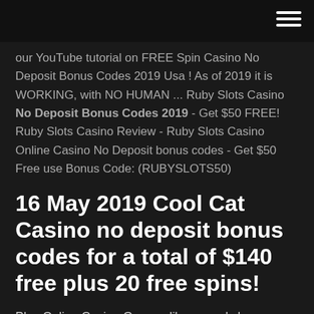[navigation bar with hamburger menu]
our YouTube tutorial on FREE Spin Casino No Deposit Bonus Codes 2019 Usa ! As of 2019 it is WORKING, with NO HUMAN ... Ruby Slots Casino No Deposit Bonus Codes 2019 - Get $50 FREE! Ruby Slots Casino Review - Ruby Slots Casino Online Casino No Deposit bonus codes - Get $50 Free use Bonus Code: (RUBYSLOTS50)
16 May 2019 Cool Cat Casino no deposit bonus codes for a total of $140 free plus 20 free spins!
Play Online Casino Games, like us and share on facebook and get a free $50 coupon, get exclusive promotions, bonuses on your first deposit. Play online casino games roulette, slots, tragamonedas No deposit bonus Codes 2016